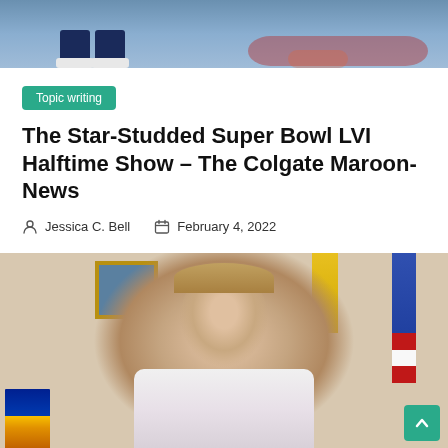[Figure (photo): Top portion of a photo showing legs/feet in jeans and white shoes standing near water with colorful reflections]
Topic writing
The Star-Studded Super Bowl LVI Halftime Show – The Colgate Maroon-News
Jessica C. Bell   February 4, 2022
[Figure (photo): Woman with long blonde hair speaking, seated at a desk with flags (BC, yellow, blue) and a framed painting in the background]